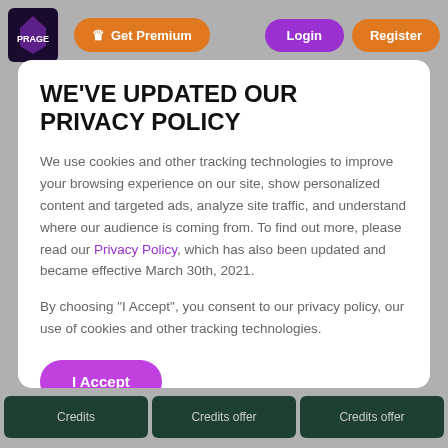Get Premium  Login  Register
WE'VE UPDATED OUR PRIVACY POLICY
We use cookies and other tracking technologies to improve your browsing experience on our site, show personalized content and targeted ads, analyze site traffic, and understand where our audience is coming from. To find out more, please read our Privacy Policy, which has also been updated and became effective March 30th, 2021.
By choosing "I Accept", you consent to our privacy policy, our use of cookies and other tracking technologies.
I Accept
Credits  Credits offer  Credits offer